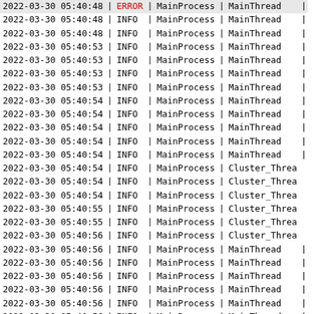| Timestamp | | | Level | | | Process | | | Thread | | |
| --- | --- | --- | --- | --- | --- | --- | --- |
| 2022-03-30 05:40:48 | | | ERROR | | | MainProcess | | | MainThread | | |
| 2022-03-30 05:40:48 | | | INFO | | | MainProcess | | | MainThread | | |
| 2022-03-30 05:40:48 | | | INFO | | | MainProcess | | | MainThread | | |
| 2022-03-30 05:40:53 | | | INFO | | | MainProcess | | | MainThread | | |
| 2022-03-30 05:40:53 | | | INFO | | | MainProcess | | | MainThread | | |
| 2022-03-30 05:40:53 | | | INFO | | | MainProcess | | | MainThread | | |
| 2022-03-30 05:40:53 | | | INFO | | | MainProcess | | | MainThread | | |
| 2022-03-30 05:40:54 | | | INFO | | | MainProcess | | | MainThread | | |
| 2022-03-30 05:40:54 | | | INFO | | | MainProcess | | | MainThread | | |
| 2022-03-30 05:40:54 | | | INFO | | | MainProcess | | | MainThread | | |
| 2022-03-30 05:40:54 | | | INFO | | | MainProcess | | | MainThread | | |
| 2022-03-30 05:40:54 | | | INFO | | | MainProcess | | | MainThread | | |
| 2022-03-30 05:40:54 | | | INFO | | | MainProcess | | | Cluster_Thread | | |
| 2022-03-30 05:40:54 | | | INFO | | | MainProcess | | | Cluster_Thread | | |
| 2022-03-30 05:40:54 | | | INFO | | | MainProcess | | | Cluster_Thread | | |
| 2022-03-30 05:40:55 | | | INFO | | | MainProcess | | | Cluster_Thread | | |
| 2022-03-30 05:40:55 | | | INFO | | | MainProcess | | | Cluster_Thread | | |
| 2022-03-30 05:40:56 | | | INFO | | | MainProcess | | | Cluster_Thread | | |
| 2022-03-30 05:40:56 | | | INFO | | | MainProcess | | | MainThread | | |
| 2022-03-30 05:40:56 | | | INFO | | | MainProcess | | | MainThread | | |
| 2022-03-30 05:40:56 | | | INFO | | | MainProcess | | | MainThread | | |
| 2022-03-30 05:40:56 | | | INFO | | | MainProcess | | | MainThread | | |
| 2022-03-30 05:40:56 | | | INFO | | | MainProcess | | | MainThread | | |
| 2022-03-30 05:40:56 | | | INFO | | | MainProcess | | | MainThread | | |
| 2022-03-30 05:40:56 | | | INFO | | | MainProcess | | | MainThread | | |
| 2022-03-30 05:40:56 | | | INFO | | | MainProcess | | | MainThread | | |
| 2022-03-30 05:40:56 | | | INFO | | | MainProcess | | | MainThread | | |
| 2022-03-30 05:40:56 | | | INFO | | | MainProcess | | | MainThread | | |
| 2022-03-30 05:40:56 | | | INFO | | | MainProcess | | | MainThread | | |
| 2022-03-30 05:40:56 | | | INFO | | | MainProcess | | | MainThread | | |
| 2022-03-30 05:40:56 | | | INFO | | | MainProcess | | | MainThread | | |